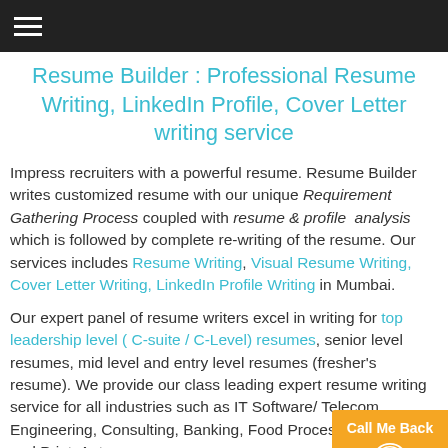☰ (navigation header bar)
Resume Builder : Professional Resume Writing, LinkedIn Profile, Cover Letter writing service
Impress recruiters with a powerful resume. Resume Builder writes customized resume with our unique Requirement Gathering Process coupled with resume & profile analysis which is followed by complete re-writing of the resume. Our services includes Resume Writing, Visual Resume Writing, Cover Letter Writing, LinkedIn Profile Writing in Mumbai.
Our expert panel of resume writers excel in writing for top leadership level ( C-suite / C-Level) resumes, senior level resumes, mid level and entry level resumes (fresher's resume). We provide our class leading expert resume writing service for all industries such as IT Software/ Telecom, Engineering, Consulting, Banking, Food Processing, News and Print, Automobiles, Infrastructure and more.